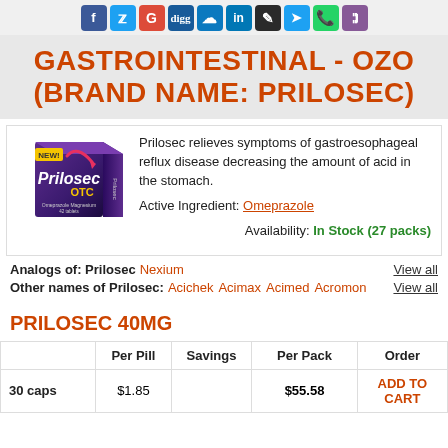[Figure (other): Social media sharing icon bar with icons for Facebook, Twitter, Google+, Digg, Delicious, LinkedIn, pen/edit, bird, WhatsApp, Viber]
GASTROINTESTINAL - OZO (BRAND NAME: PRILOSEC)
[Figure (photo): Prilosec OTC product box, purple/blue packaging, 42 tablets, NEW label]
Prilosec relieves symptoms of gastroesophageal reflux disease decreasing the amount of acid in the stomach.
Active Ingredient: Omeprazole
Availability: In Stock (27 packs)
Analogs of: Prilosec   Nexium   View all
Other names of Prilosec:   Acichek   Acimax   Acimed   Acromon   View all
PRILOSEC 40MG
|  | Per Pill | Savings | Per Pack | Order |
| --- | --- | --- | --- | --- |
| 30 caps | $1.85 |  | $55.58 | ADD TO CART |